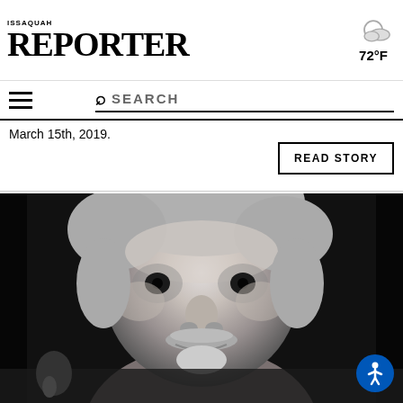ISSAQUAH REPORTER 72°F
SEARCH
March 15th, 2019.
READ STORY
[Figure (photo): Black and white close-up portrait photo of an older man with gray hair, mustache and goatee, smiling slightly. He appears to be holding something in the lower left corner of the frame.]